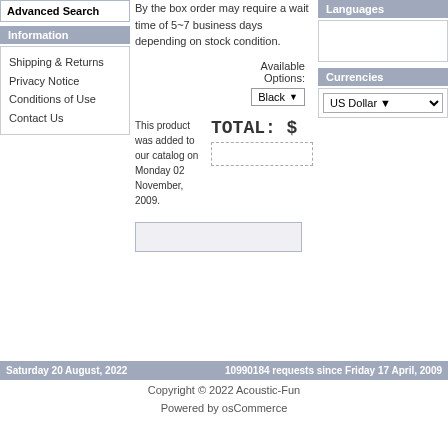Advanced Search
Information
Shipping & Returns
Privacy Notice
Conditions of Use
Contact Us
By the box order may require a wait time of 5~7 business days depending on stock condition.
Languages
Currencies
US Dollar
Available Options:
Black
This product was added to our catalog on Monday 02 November, 2009.
TOTAL: $
Saturday 20 August, 2022 | 10990184 requests since Friday 17 April, 2009
Copyright © 2022 Acoustic-Fun
Powered by osCommerce